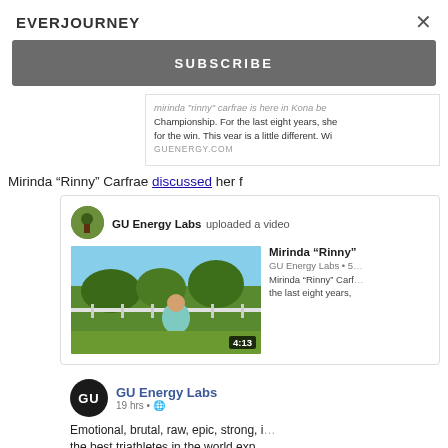EVERJOURNEY
×
SUBSCRIBE
Championship. For the last eight years, she ... for the win. This year is a little different. Wi...
GUENERGY.COM
Mirinda "Rinny" Carfrae discussed her f
GU Energy Labs uploaded a video
[Figure (screenshot): Video thumbnail showing a woman in a teal tank top standing outdoors with green vegetation and a fence behind her. Duration overlay shows 4:13.]
Mirinda "Rinny"
GU Energy Labs · 5...
Mirinda "Rinny" Carf... the last eight years,
GU Energy Labs
19 hrs · 🌐
Emotional, brutal, raw, epic, strong, i...
the best triathletes in the world exp...